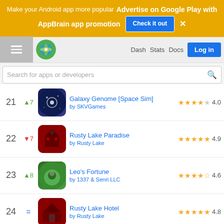Make your Android app more popular Advertise on Google Play with AppBrain app promotion [Check it out] x
Dash Stats Docs Log in
Search for apps or developers
21 ▲7 Galaxy Genome [Space Sim] by SKVGames ★★★★½ 4.0
22 ▼7 Rusty Lake Paradise by Rusty Lake ★★★★★ 4.9
23 ▲8 Leo's Fortune by 1337 & Senri LLC ★★★★½ 4.6
24 = Rusty Lake Hotel by Rusty Lake ★★★★★ 4.8
25 ▼8 Peppa Pig: Golden Boots by Entertainment One ★★★★ 4.2
26 ▲14 LEGO ® Batman: Beyond Gotha... by Warner Bros. International Enterprises ★★★★ 3.5